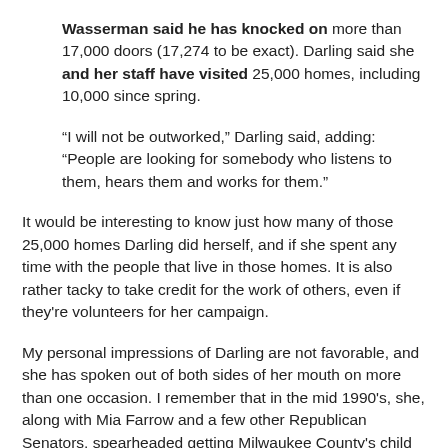Wasserman said he has knocked on more than 17,000 doors (17,274 to be exact). Darling said she and her staff have visited 25,000 homes, including 10,000 since spring.
“I will not be outworked,” Darling said, adding: “People are looking for somebody who listens to them, hears them and works for them.”
It would be interesting to know just how many of those 25,000 homes Darling did herself, and if she spent any time with the people that live in those homes. It is also rather tacky to take credit for the work of others, even if they're volunteers for her campaign.
My personal impressions of Darling are not favorable, and she has spoken out of both sides of her mouth on more than one occasion. I remember that in the mid 1990’s, she, along with Mia Farrow and a few other Republican Senators, spearheaded getting Milwaukee County’s child welfare system privatized. On the morning that she came to speak to the county workers, in which she was going to thank and